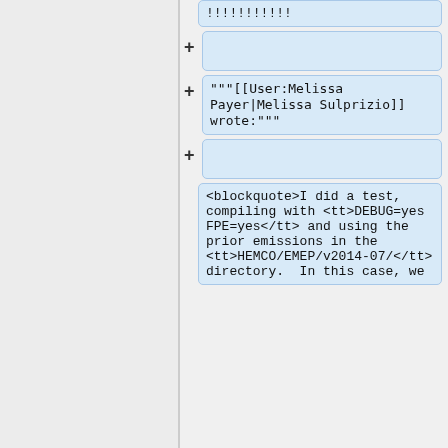!!!!!!!!!!
"""[[User:Melissa Payer|Melissa Sulprizio]] wrote:"""
<blockquote>I did a test, compiling with <tt>DEBUG=yes FPE=yes</tt> and using the prior emissions in the <tt>HEMCO/EMEP/v2014-07/</tt> directory.  In this case, we